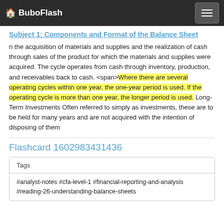BuboFlash
Subject 1: Components and Format of the Balance Sheet
n the acquisition of materials and supplies and the realization of cash through sales of the product for which the materials and supplies were acquired. The cycle operates from cash through inventory, production, and receivables back to cash. <span>Where there are several operating cycles within one year, the one-year period is used. If the operating cycle is more than one year, the longer period is used. Long-Term Investments Often referred to simply as investments, these are to be held for many years and are not acquired with the intention of disposing of them
Flashcard 1602983431436
| Tags |
| --- |
| #analyst-notes #cfa-level-1 #financial-reporting-and-analysis #reading-26-understanding-balance-sheets |